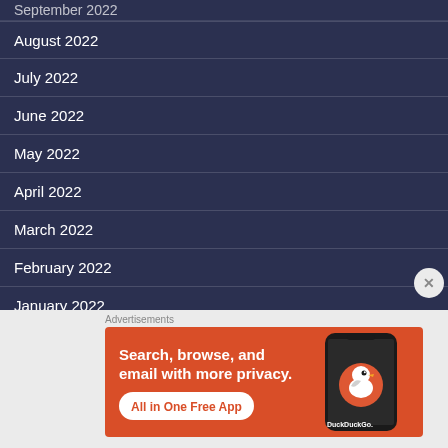September 2022
August 2022
July 2022
June 2022
May 2022
April 2022
March 2022
February 2022
January 2022
Advertisements
[Figure (screenshot): DuckDuckGo advertisement banner showing a phone with DuckDuckGo app and text: Search, browse, and email with more privacy. All in One Free App]